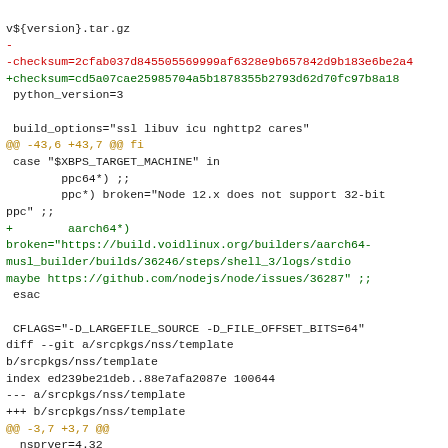v${version}.tar.gz
-
-checksum=2cfab037d845505569999af6328e9b657842d9b183e6be2a4
+checksum=cd5a07cae25985704a5b1878355b2793d62d70fc97b8a18
 python_version=3

 build_options="ssl libuv icu nghttp2 cares"
@@ -43,6 +43,7 @@ fi
 case "$XBPS_TARGET_MACHINE" in
         ppc64*) ;;
         ppc*) broken="Node 12.x does not support 32-bit ppc" ;;
+        aarch64*)
broken="https://build.voidlinux.org/builders/aarch64-musl_builder/builds/36246/steps/shell_3/logs/stdio maybe https://github.com/nodejs/node/issues/36287" ;;
 esac

 CFLAGS="-D_LARGEFILE_SOURCE -D_FILE_OFFSET_BITS=64"
diff --git a/srcpkgs/nss/template b/srcpkgs/nss/template
index ed239be21deb..88e7afa2087e 100644
--- a/srcpkgs/nss/template
+++ b/srcpkgs/nss/template
@@ -3,7 +3,7 @@
 _nsprver=4.32

 pkgname=nss
-version=3.73.1
+version=3.74